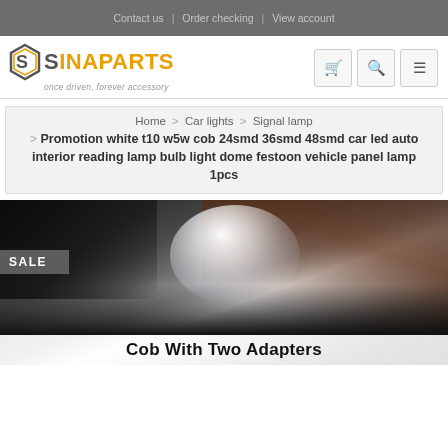Contact us  |  Order checking  |  View account
[Figure (logo): Sinaparts logo with hexagonal S icon in gray/yellow and tagline 'once driven, forever accessory']
Home > Car lights > Signal lamp > Promotion white t10 w5w cob 24smd 36smd 48smd car led auto interior reading lamp bulb light dome festoon vehicle panel lamp 1pcs
[Figure (photo): Car interior with bright white LED light illuminating the cabin door area, showing a SALE badge overlay and 'Cob With Two Adapters' text at the bottom]